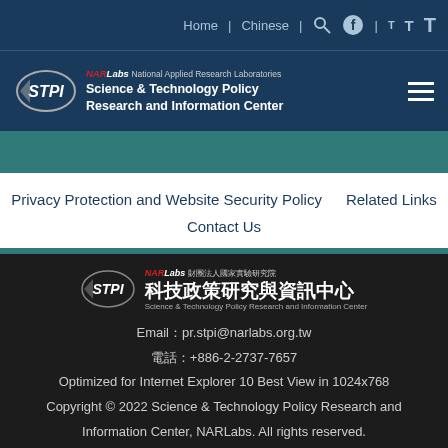Home | Chinese | [Search] [Facebook] T T T
[Figure (logo): STPI NARLabs logo with text: NARLabs National Applied Research Laboratories, Science & Technology Policy Research and Information Center]
Privacy Protection and Website Security Policy   Related Links   Contact Us
[Figure (logo): STPI NARLabs footer logo with Chinese text: 科技政策研究與資訊中心, Science & Technology Policy Research and Information Center]
Email：pr.stpi@narlabs.org.tw
電話：+886-2-2737-7657
Optimized for Internet Explorer 10 Best View in 1024x768
Copyright © 2022 Science & Technology Policy Research and Information Center, NARLabs. All rights reserved.